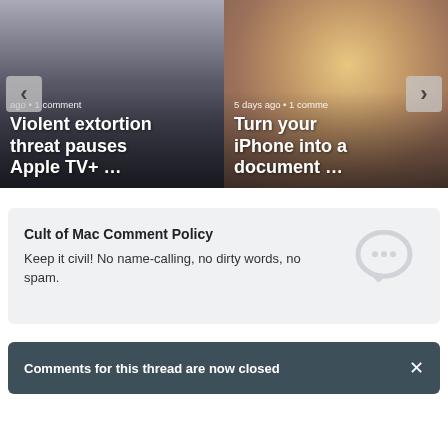[Figure (screenshot): Article carousel card 1: grayscale city street photo with navigation arrows and headline 'Violent extortion threat pauses Apple TV+ ...' with meta text '...ago • 1 comment']
[Figure (screenshot): Article carousel card 2: color photo of woman with phone with headline 'Turn your iPhone into a document ...' with meta text '5 days ago • 1 comme']
Cult of Mac Comment Policy
Keep it civil! No name-calling, no dirty words, no spam.
Comments for this thread are now closed